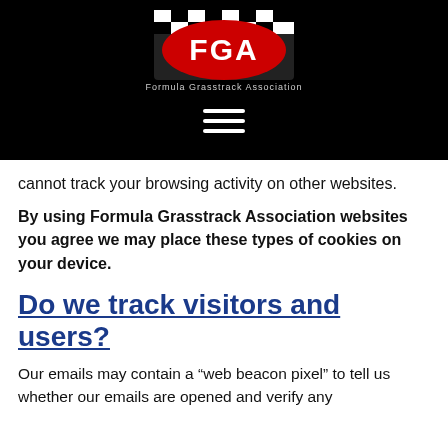[Figure (logo): FGA Formula Grasstrack Association logo on black background with hamburger menu icon below]
cannot track your browsing activity on other websites.
By using Formula Grasstrack Association websites you agree we may place these types of cookies on your device.
Do we track visitors and users?
Our emails may contain a “web beacon pixel” to tell us whether our emails are opened and verify any